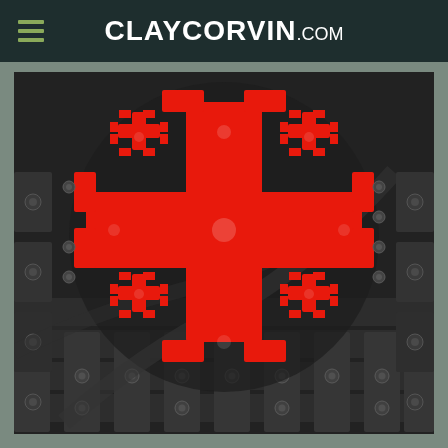CLAYCORVIN.com
[Figure (photo): Close-up photograph of a decorative Jerusalem cross (cross potent with four smaller crosses in each quadrant) painted in bright red, set against a woven/riveted black leather or metal tile background with circular rivets/studs.]